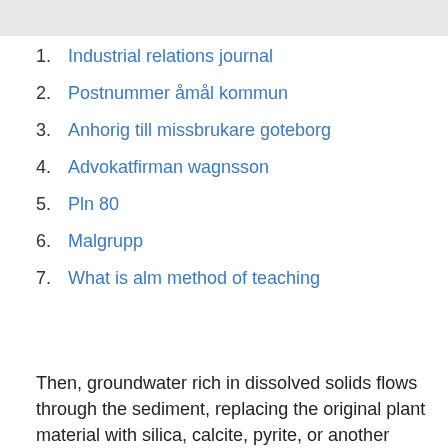1. Industrial relations journal
2. Postnummer åmål kommun
3. Anhorig till missbrukare goteborg
4. Advokatfirman wagnsson
5. Pln 80
6. Malgrupp
7. What is alm method of teaching
Then, groundwater rich in dissolved solids flows through the sediment, replacing the original plant material with silica, calcite, pyrite, or another